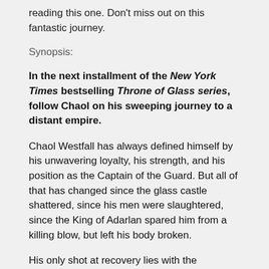reading this one. Don't miss out on this fantastic journey.
Synopsis:
In the next installment of the New York Times bestselling Throne of Glass series, follow Chaol on his sweeping journey to a distant empire.
Chaol Westfall has always defined himself by his unwavering loyalty, his strength, and his position as the Captain of the Guard. But all of that has changed since the glass castle shattered, since his men were slaughtered, since the King of Adarlan spared him from a killing blow, but left his body broken.
His only shot at recovery lies with the legendary healers of the Torre Cesme in Antica—the stronghold of the southern continent's mighty empire. And with war looming over Dorian and Aelin back home, their survival might lie with Chaol and Nesryn convincing its rulers to ally with them.